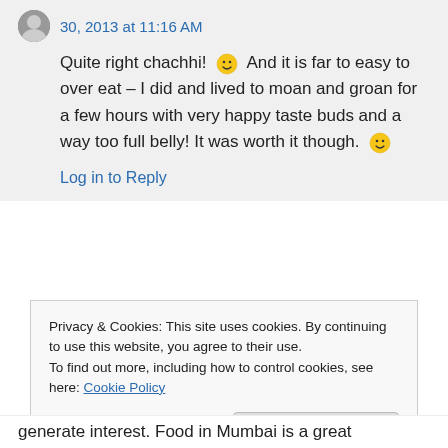30, 2013 at 11:16 AM
Quite right chachhi! 🙂 And it is far to easy to over eat – I did and lived to moan and groan for a few hours with very happy taste buds and a way too full belly! It was worth it though. 🙂
Log in to Reply
Privacy & Cookies: This site uses cookies. By continuing to use this website, you agree to their use.
To find out more, including how to control cookies, see here: Cookie Policy
Close and accept
generate interest. Food in Mumbai is a great